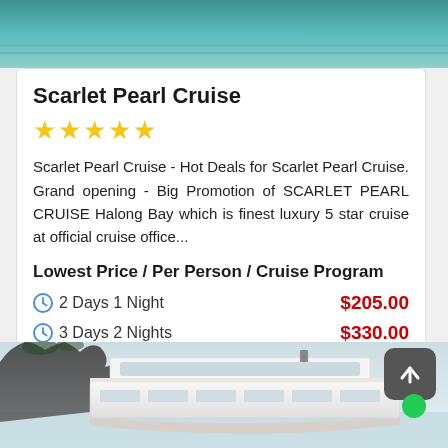[Figure (photo): Top portion of water/sea scene, teal-green color, partial image cut off at page top]
Scarlet Pearl Cruise
★★★★★
Scarlet Pearl Cruise - Hot Deals for Scarlet Pearl Cruise. Grand opening - Big Promotion of SCARLET PEARL CRUISE Halong Bay which is finest luxury 5 star cruise at official cruise office...
Lowest Price / Per Person / Cruise Program
2 Days 1 Night  $205.00
3 Days 2 Nights  $330.00
[Figure (photo): Bottom portion showing a cruise ship against limestone cliffs and light sky, Halong Bay scene]